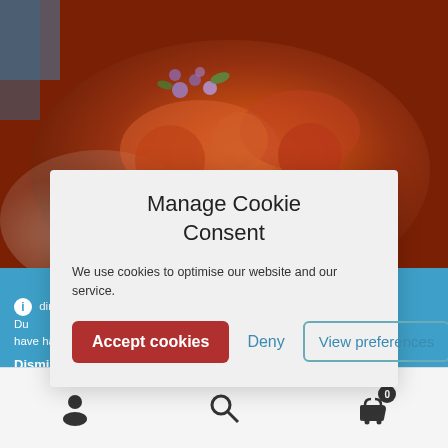[Figure (photo): Close-up food photo of saucy braised meat dish (possibly meatballs or stewed meat) on a white plate with purple flower garnish, warm orange-red tones]
Manage Cookie Consent
We use cookies to optimise our website and our service.
Accept cookies
Deny
View preferences
dim... ry. Du... have had a small price increase of no more than 4%
Dismiss